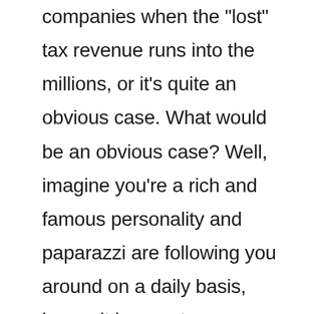companies when the "lost" tax revenue runs into the millions, or it's quite an obvious case. What would be an obvious case? Well, imagine you're a rich and famous personality and paparazzi are following you around on a daily basis, hence it is easy to understand where you're really living and operating from. Let's say that you now decide to open a